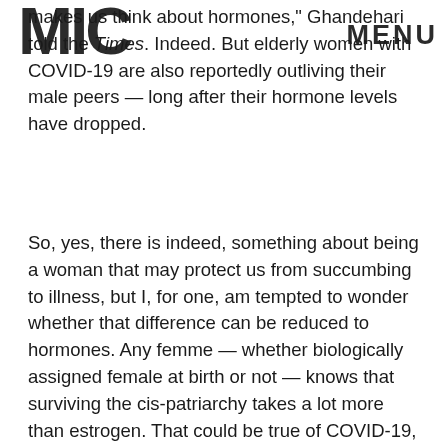MIC | MENU
makes us think about hormones," Ghandehari told the Times. Indeed. But elderly women with COVID-19 are also reportedly outliving their male peers — long after their hormone levels have dropped.
So, yes, there is indeed, something about being a woman that may protect us from succumbing to illness, but I, for one, am tempted to wonder whether that difference can be reduced to hormones. Any femme — whether biologically assigned female at birth or not — knows that surviving the cis-patriarchy takes a lot more than estrogen. That could be true of COVID-19, too.